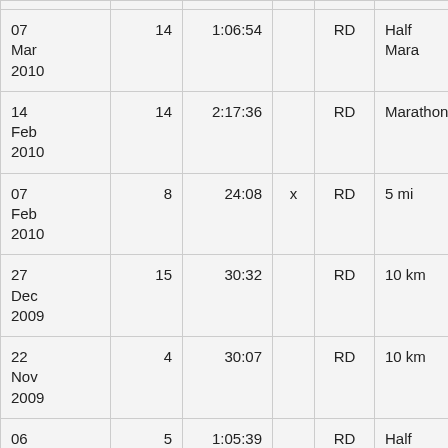| Date |  | Time |  | Type | Distance |  |
| --- | --- | --- | --- | --- | --- | --- |
| 07 Mar 2010 | 14 | 1:06:54 |  | RD | Half Mara | B |
| 14 Feb 2010 | 14 | 2:17:36 |  | RD | Marathon | S |
| 07 Feb 2010 | 8 | 24:08 | x | RD | 5 mi | A |
| 27 Dec 2009 | 15 | 30:32 |  | RD | 10 km | C |
| 22 Nov 2009 | 4 | 30:07 |  | RD | 10 km | L |
| 06 Sep ... | 5 | 1:05:39 |  | RD | Half Mara | B |